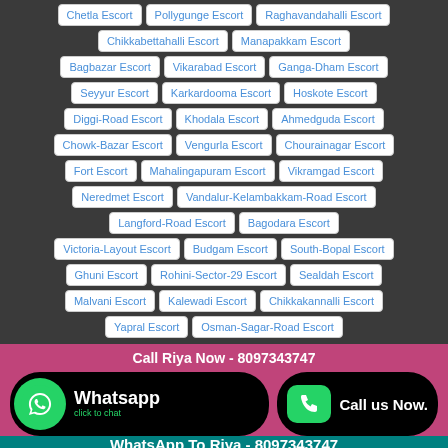Chetla Escort | Pollygunge Escort | Raghavandahalli Escort
Chikkabettahalli Escort | Manapakkam Escort
Bagbazar Escort | Vikarabad Escort | Ganga-Dham Escort
Seyyur Escort | Karkardooma Escort | Hoskote Escort
Diggi-Road Escort | Khodala Escort | Ahmedguda Escort
Chowk-Bazar Escort | Vengurla Escort | Chourainagar Escort
Fort Escort | Mahalingapuram Escort | Vikramgad Escort
Neredmet Escort | Vandalur-Kelambakkam-Road Escort
Langford-Road Escort | Bagodara Escort
Victoria-Layout Escort | Budgam Escort | South-Bopal Escort
Ghuni Escort | Rohini-Sector-29 Escort | Sealdah Escort
Malvani Escort | Kalewadi Escort | Chikkakannalli Escort
Yapral Escort | Osman-Sagar-Road Escort
Call Riya Now - 8097343747
Whatsapp click to chat
Call us Now.
WhatsApp To Riya - 8097343747